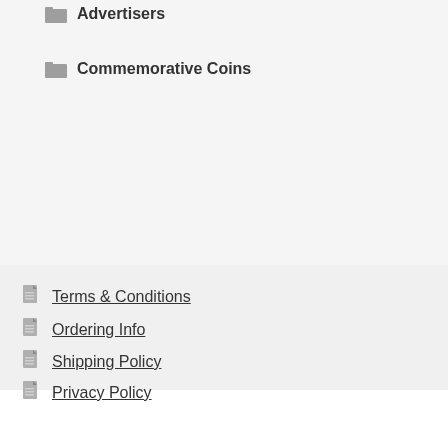Advertisers
Commemorative Coins
Terms & Conditions
Ordering Info
Shipping Policy
Privacy Policy